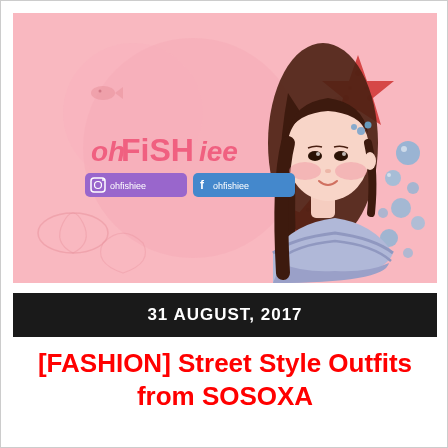[Figure (illustration): Illustrated banner for 'ohFISHiee' blog. Pink ocean-themed background with cartoon sea elements (starfish, fish, bubbles, coral outlines). Features a kawaii-style illustrated girl with long dark hair, pink blush cheeks, wearing a blue off-shoulder ruffled top. Logo text 'ohFISHiee' in pink on the left, with two social media buttons: Instagram '@ohfishiee' (purple) and Facebook '@ohfishiee' (blue).]
31 AUGUST, 2017
[FASHION] Street Style Outfits from SOSOXA